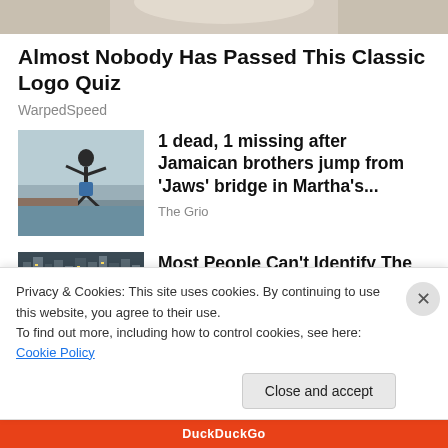[Figure (photo): Partial top image visible at top of page, showing a tan/beige background, possibly clothing]
Almost Nobody Has Passed This Classic Logo Quiz
WarpedSpeed
[Figure (photo): Photo of a boy jumping off a bridge or platform, arms outstretched, over water]
1 dead, 1 missing after Jamaican brothers jump from 'Jaws' bridge in Martha's...
The Grio
[Figure (photo): Photo of a city street at night with lights and buildings]
Most People Can't Identify The TV Show Based On The Empty...
Privacy & Cookies: This site uses cookies. By continuing to use this website, you agree to their use.
To find out more, including how to control cookies, see here: Cookie Policy
Close and accept